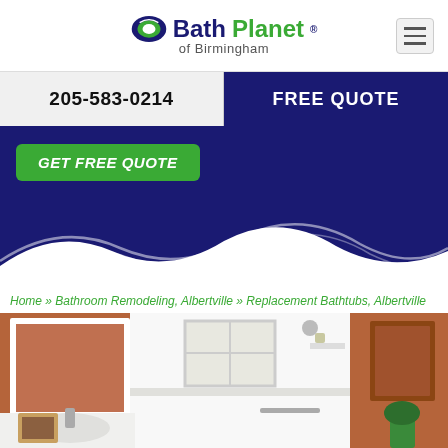[Figure (logo): Bath Planet of Birmingham logo with green leaf icon]
205-583-0214
FREE QUOTE
GET FREE QUOTE
Home » Bathroom Remodeling, Albertville » Replacement Bathtubs, Albertville
[Figure (photo): Bathroom remodel photo showing white bathtub surround, mirror, sink, and terracotta walls]